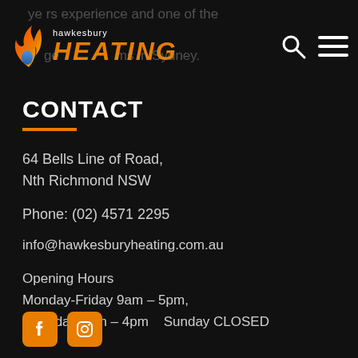[Figure (logo): Hawkesbury Heating logo with flame icon, text 'hawkesbury' above 'HEATING' in orange italic bold, with faded background text 'years experience and one of the ... ms in Sydney.']
CONTACT
64 Bells Line of Road,
Nth Richmond NSW
Phone: (02) 4571 2295
info@hawkesburyheating.com.au
Opening Hours
Monday-Friday 9am – 5pm,
Saturday 9am – 4pm   Sunday CLOSED
[Figure (illustration): Facebook and Instagram social media icon buttons in orange rounded rectangles]